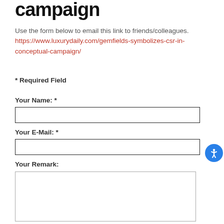campaign
Use the form below to email this link to friends/colleagues. https://www.luxurydaily.com/gemfields-symbolizes-csr-in-conceptual-campaign/
* Required Field
Your Name: *
Your E-Mail: *
Your Remark: